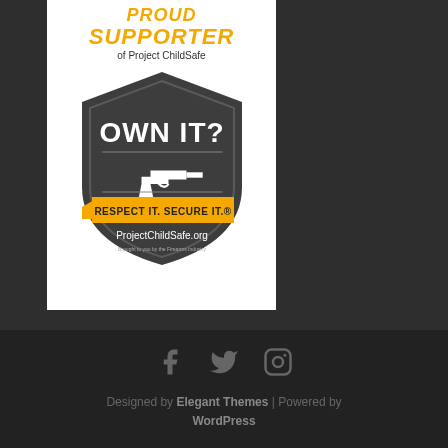[Figure (logo): Project ChildSafe badge/logo: 'PROUD SUPPORTER of Project ChildSafe' with shield graphic containing 'OWN IT?' text, gun icon, ribbon banner reading 'RESPECT IT. SECURE IT.' and 'ProjectChildSafe.org' text. Yellow/gold and dark gray color scheme.]
Designed by Elegant Themes | Powered by WordPress